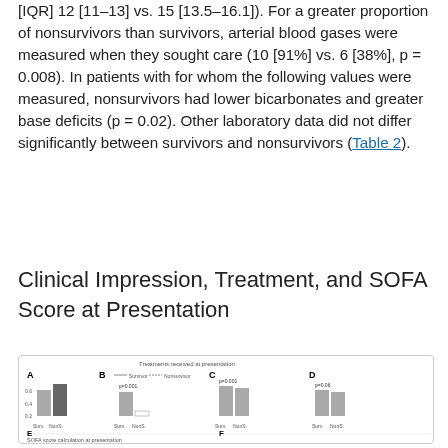[IQR] 12 [11–13] vs. 15 [13.5–16.1]). For a greater proportion of nonsurvivors than survivors, arterial blood gases were measured when they sought care (10 [91%] vs. 6 [38%], p = 0.008). In patients with for whom the following values were measured, nonsurvivors had lower bicarbonates and greater base deficits (p = 0.02). Other laboratory data did not differ significantly between survivors and nonsurvivors (Table 2).
Clinical Impression, Treatment, and SOFA Score at Presentation
[Figure (bar-chart): Multi-panel bar chart showing treatments received at presentation (panels A, B, C, D) and SOFA score calculations at presentation (panels E, F). Bars compare survivors vs nonsurvivors.]